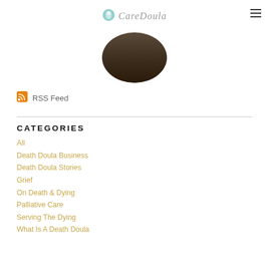CareDoula
[Figure (photo): Circular profile photo of a person, partially cropped at top of page]
RSS Feed
CATEGORIES
All
Death Doula Business
Death Doula Stories
Grief
On Death & Dying
Palliative Care
Serving The Dying
What Is A Death Doula